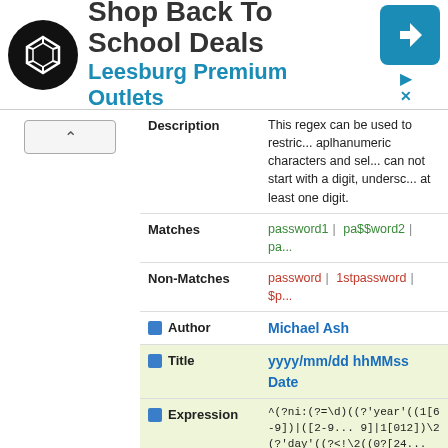[Figure (screenshot): Ad banner for Leesburg Premium Outlets shop back to school deals with logo and navigation icon]
Description: This regex can be used to restrict alphanumeric characters and sel... can not start with a digit, undersc... at least one digit.
Matches: password1 | pa$$word2 | pa...
Non-Matches: password | 1stpassword | $p...
Author: Michael Ash
Title: yyyy/mm/dd hhMMss Date
Expression: ^(?ni:(?=\d)((?'year'((1[6-9])|([2-9]...) 9]|1[012])\2(?'day'((?<!\2((0?[24... ((1[6-9]||?_9)\d)(0[481]|2468||048...
Description: YYYY/MM/DD hh:mm:ss format D... date, time or a datetime. It will als... Dates are in the YYYY/MM/DD fo... days in a month and leap years (... matched periods(.), dashes(-) or ... AM/PM format (hh:mm:ss AM), w... or PM required. or 24 hour milita... 23:59:59, where hours and minut... for hours less than 10. Please ref... http://blogs.regexadvice.com/ma... additional info Datetime is the ab... space, with the date first (YYYY/...